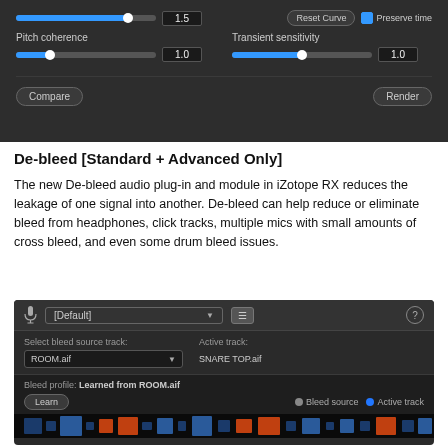[Figure (screenshot): iZotope RX plugin interface showing Pitch coherence and Transient sensitivity sliders both set to 1.0, with Compare and Render buttons at the bottom.]
De-bleed [Standard + Advanced Only]
The new De-bleed audio plug-in and module in iZotope RX reduces the leakage of one signal into another. De-bleed can help reduce or eliminate bleed from headphones, click tracks, multiple mics with small amounts of cross bleed, and even some drum bleed issues.
[Figure (screenshot): iZotope RX De-bleed module interface showing preset selector set to [Default], Select bleed source track dropdown showing ROOM.aif, Active track showing SNARE TOP.aif, Bleed profile showing Learned from ROOM.aif, Learn button, and Bleed source / Active track legend with colored dots.]